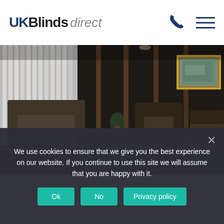UK Blinds direct
[Figure (photo): Interior room with vertical blinds on left window, dark chocolate-brown sofas and armchairs arranged around a wooden coffee table, dark panelled walls, hardwood floor, and a framed painting on the right wall.]
We use cookies to ensure that we give you the best experience on our website. If you continue to use this site we will assume that you are happy with it.
Ok  No  Privacy policy